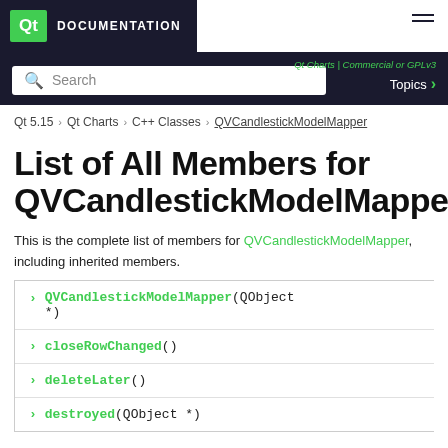Qt DOCUMENTATION
Qt Charts | Commercial or GPLv3  Topics
Qt 5.15 > Qt Charts > C++ Classes > QVCandlestickModelMapper
List of All Members for QVCandlestickModelMapper
This is the complete list of members for QVCandlestickModelMapper, including inherited members.
QVCandlestickModelMapper(QObject *)
closeRowChanged()
deleteLater()
destroyed(QObject *)